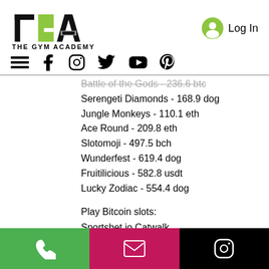[Figure (logo): The Gym Academy logo with TGA letters and green accent, plus THE GYM ACADEMY text below]
[Figure (other): Log In button with green user icon]
[Figure (other): Navigation bar with hamburger menu, Facebook, Instagram, Twitter, YouTube, Pinterest icons]
Battle of the Gods - 236.6 btc (strikethrough/faded)
Serengeti Diamonds - 168.9 dog
Jungle Monkeys - 110.1 eth
Ace Round - 209.8 eth
Slotomoji - 497.5 bch
Wunderfest - 619.4 dog
Fruitilicious - 582.8 usdt
Lucky Zodiac - 554.4 dog
Play Bitcoin slots:
Sportsbet.io Catwalk
Syndicate Casino Cosmic Cat